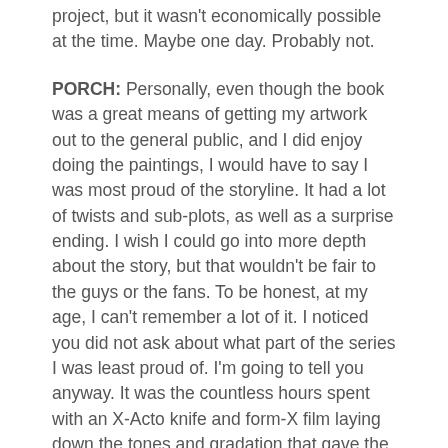project, but it wasn't economically possible at the time. Maybe one day. Probably not.
PORCH: Personally, even though the book was a great means of getting my artwork out to the general public, and I did enjoy doing the paintings, I would have to say I was most proud of the storyline. It had a lot of twists and sub-plots, as well as a surprise ending. I wish I could go into more depth about the story, but that wouldn't be fair to the guys or the fans. To be honest, at my age, I can't remember a lot of it. I noticed you did not ask about what part of the series I was least proud of. I'm going to tell you anyway. It was the countless hours spent with an X-Acto knife and form-X film laying down the tones and gradation that gave the book its look. The book may have been a Labor of Love, but I didn't LOVE that part of it.
In closing, I would like to add that I would not trade those years I spent with the guys (Bill, Mitch and Dave) for anything, It was a great...